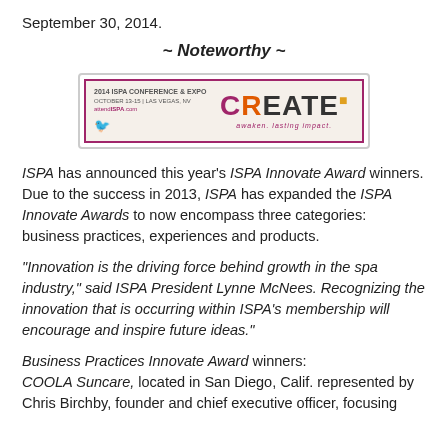September 30, 2014.
~ Noteworthy ~
[Figure (other): 2014 ISPA Conference & Expo banner with CREATE logo, October 13-15, Las Vegas, NV, attend ISPA.com]
ISPA has announced this year's ISPA Innovate Award winners. Due to the success in 2013, ISPA has expanded the ISPA Innovate Awards to now encompass three categories: business practices, experiences and products.
“Innovation is the driving force behind growth in the spa industry,” said ISPA President Lynne McNees. Recognizing the innovation that is occurring within ISPA’s membership will encourage and inspire future ideas.”
Business Practices Innovate Award winners:
COOLA Suncare, located in San Diego, Calif. represented by Chris Birchby, founder and chief executive officer, focusing